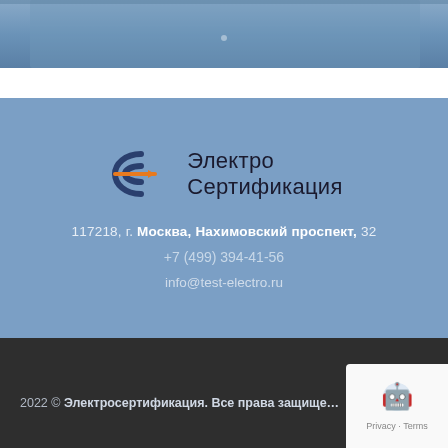[Figure (photo): Top photo strip showing a person wearing a denim jacket, blue tones]
[Figure (logo): ElektroSertifikatsiya logo with stylized 'ec' symbol in dark blue and orange arrow, text reads 'Электро Сертификация']
117218, г. Москва, Нахимовский проспект, 32
+7 (499) 394-41-56
info@test-electro.ru
2022 © Электросертификация. Все права защищены.